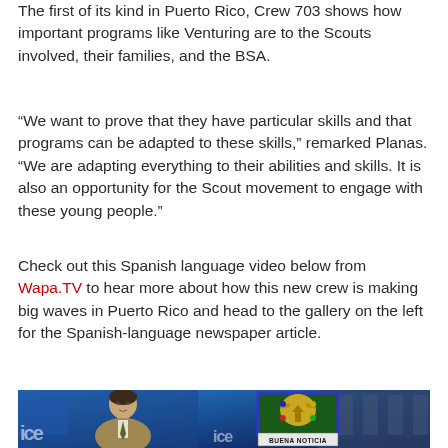The first of its kind in Puerto Rico, Crew 703 shows how important programs like Venturing are to the Scouts involved, their families, and the BSA.
“We want to prove that they have particular skills and that programs can be adapted to these skills,” remarked Planas. “We are adapting everything to their abilities and skills. It is also an opportunity for the Scout movement to engage with these young people.”
Check out this Spanish language video below from Wapa.TV to hear more about how this new crew is making big waves in Puerto Rico and head to the gallery on the left for the Spanish-language newspaper article.
[Figure (photo): TV news screenshot showing a male news anchor in a suit with a BSA (Boy Scouts of America) emblem displayed on screen and a banner reading 'BUENA NOTICIA' below it. The studio background is blue.]